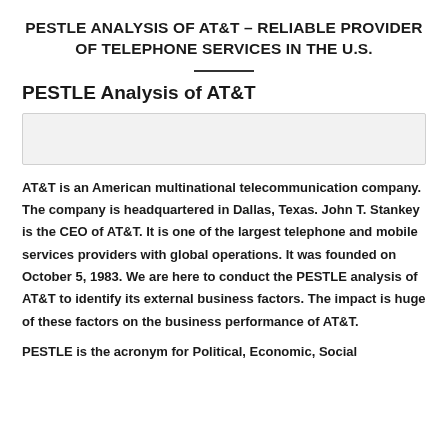PESTLE ANALYSIS OF AT&T – RELIABLE PROVIDER OF TELEPHONE SERVICES IN THE U.S.
PESTLE Analysis of AT&T
[Figure (other): Gray placeholder box]
AT&T is an American multinational telecommunication company. The company is headquartered in Dallas, Texas. John T. Stankey is the CEO of AT&T. It is one of the largest telephone and mobile services providers with global operations. It was founded on October 5, 1983. We are here to conduct the PESTLE analysis of AT&T to identify its external business factors. The impact is huge of these factors on the business performance of AT&T.
PESTLE is the acronym for Political, Economic, Social